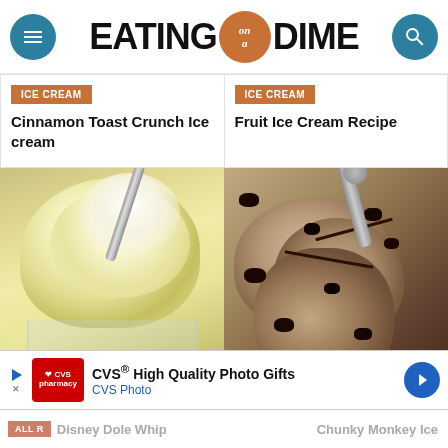EATING on a DIME
ICE CREAM
Cinnamon Toast Crunch Ice cream
ICE CREAM
Fruit Ice Cream Recipe
[Figure (photo): Yellow/vanilla ice cream in a glass bowl with a spoon]
[Figure (photo): Chunky monkey-style ice cream with chocolate chips and nuts on a scoop]
[Figure (other): CVS High Quality Photo Gifts advertisement banner]
Disney Dole Whip
Chunky Monkey Ice